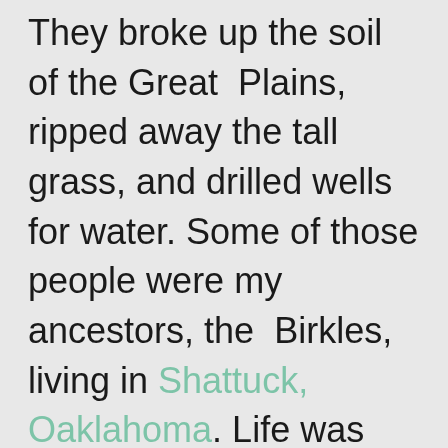They broke up the soil of the Great Plains, ripped away the tall grass, and drilled wells for water. Some of those people were my ancestors, the Birkles, living in Shattuck, Oaklahoma. Life was difficult but they turned a profit through their crops and their cattle and found some happiness. Then the weather turned against